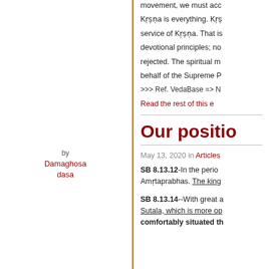movement, we must ac... Kṛṣṇa is everything. Kṛṣ... service of Kṛṣṇa. That is... devotional principles; no... rejected. The spiritual m... behalf of the Supreme P... >>> Ref. VedaBase => N...
Read the rest of this e...
by Damaghosa dasa
Our positio...
May 13, 2020 in Articles
SB 8.13.12-In the period... Amṛtaprabhas. The king...
SB 8.13.14--With great a... Sutala, which is more op... comfortably situated th...